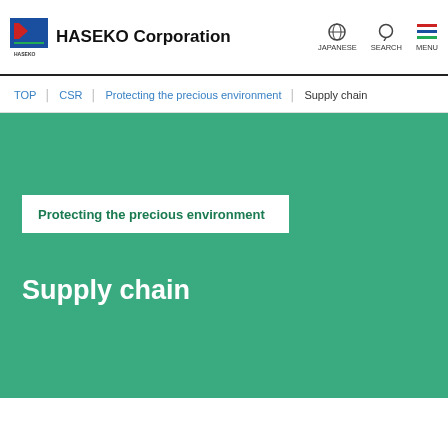HASEKO Corporation
JAPANESE  SEARCH  MENU
TOP  CSR  Protecting the precious environment  Supply chain
Protecting the precious environment
Supply chain